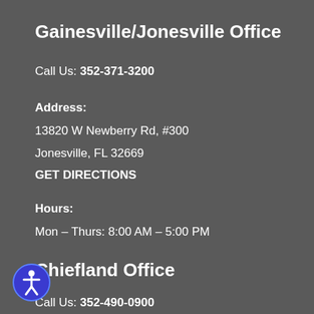Gainesville/Jonesville Office
Call Us: 352-371-3200
Address:
13820 W Newberry Rd, #300
Jonesville, FL 32669
GET DIRECTIONS
Hours:
Mon – Thurs: 8:00 AM – 5:00 PM
Chiefland Office
Call Us: 352-490-0900